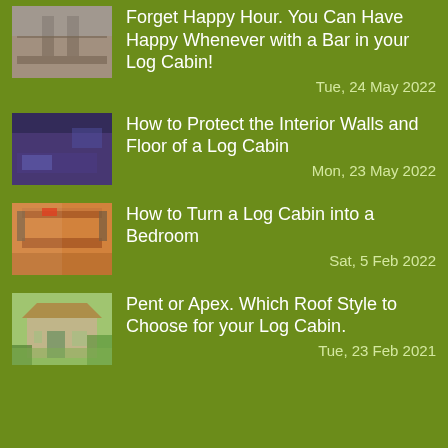[Figure (photo): Interior room photo showing bar/dining area with bar stools]
Forget Happy Hour. You Can Have Happy Whenever with a Bar in your Log Cabin!
Tue, 24 May 2022
[Figure (photo): Interior room photo showing purple-lit living area with couch]
How to Protect the Interior Walls and Floor of a Log Cabin
Mon, 23 May 2022
[Figure (photo): Interior bedroom photo showing bunk beds with orange bedding]
How to Turn a Log Cabin into a Bedroom
Sat, 5 Feb 2022
[Figure (photo): Exterior photo of a log cabin with garden and trees]
Pent or Apex. Which Roof Style to Choose for your Log Cabin.
Tue, 23 Feb 2021